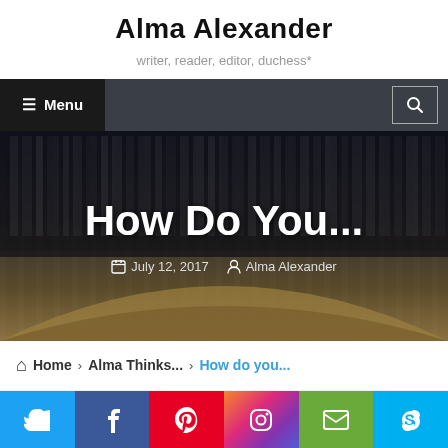Alma Alexander
writer, reader, editor, duchess*
☰ Menu | 🔍
[Figure (photo): Hero image with dark background showing books and a curved surface, with the text 'How Do You...' and metadata 'July 12, 2017 · Alma Alexander']
🏠 Home › Alma Thinks... › How do you...
[Figure (infographic): Social media sharing bar with Twitter, Facebook, Pinterest, Instagram, Email, and Skype icons]